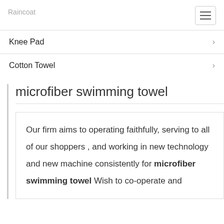Raincoat
Knee Pad
Cotton Towel
microfiber swimming towel
Our firm aims to operating faithfully, serving to all of our shoppers , and working in new technology and new machine consistently for microfiber swimming towel Wish to co-operate and